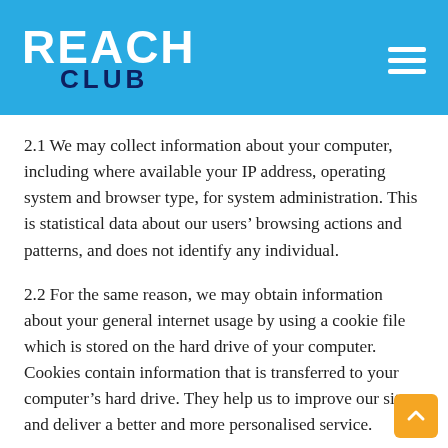REACH CLUB
2.1 We may collect information about your computer, including where available your IP address, operating system and browser type, for system administration. This is statistical data about our users’ browsing actions and patterns, and does not identify any individual.
2.2 For the same reason, we may obtain information about your general internet usage by using a cookie file which is stored on the hard drive of your computer. Cookies contain information that is transferred to your computer’s hard drive. They help us to improve our site and deliver a better and more personalised service.